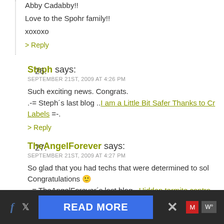Abby Cadabby!!
Love to the Spohr family!!
xoxoxo
> Reply
26. Steph says:
SEPTEMBER 21ST, 2009 AT 4:26 PM
Such exciting news. Congrats.
.-= Steph´s last blog .. I am a Little Bit Safer Thanks to Cr... Labels =-.
> Reply
27. TheAngelForever says:
SEPTEMBER 21ST, 2009 AT 4:27 PM
So glad that you had techs that were determined to sol... Congratulations :)
.-= TheAngelForever´s last blog .. Hidden termite contro...